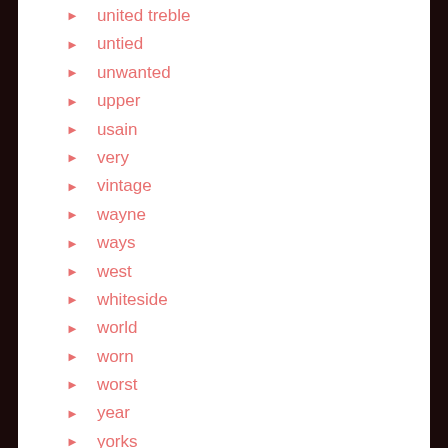united treble
untied
unwanted
upper
usain
very
vintage
wayne
ways
west
whiteside
world
worn
worst
year
yorks